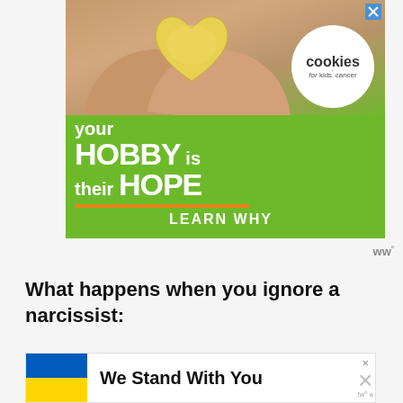[Figure (advertisement): Cookies for Kids' Cancer advertisement banner. Green background with image of hands holding a heart-shaped cookie. White circular logo with 'cookies for kids' cancer'. Bold white text reads: 'your HOBBY is their HOPE'. Orange underline. 'LEARN WHY' button text.]
ww°
What happens when you ignore a narcissist:
[Figure (advertisement): Bottom ad banner showing Ukrainian flag (blue and yellow) with text 'We Stand With You'. Close buttons and moat watermark visible.]